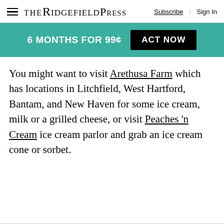The Ridgefield Press | Subscribe | Sign In
6 MONTHS FOR 99¢   ACT NOW
You might want to visit Arethusa Farm which has locations in Litchfield, West Hartford, Bantam, and New Haven for some ice cream, milk or a grilled cheese, or visit Peaches 'n Cream ice cream parlor and grab an ice cream cone or sorbet.